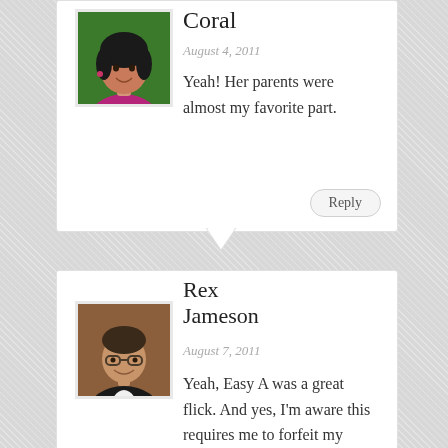Coral
August 4, 2011
Yeah! Her parents were almost my favorite part.
Reply
[Figure (photo): Profile photo of a woman with dark curly hair, smiling, wearing a pink/magenta top, against a green background]
Rex Jameson
August 7, 2011
Yeah, Easy A was a great flick. And yes, I'm aware this requires me to forfeit my man-card.
[Figure (photo): Profile photo of a man with glasses, dark hair, smiling, wearing a dark suit, against a brick wall background]